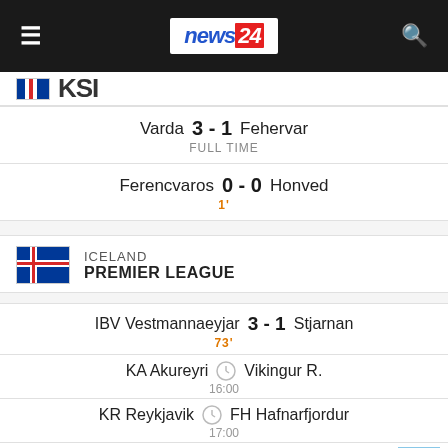news24
KSI (partial, cut off)
Varda 3 - 1 Fehervar FULL TIME
Ferencvaros 0 - 0 Honved 1'
ICELAND PREMIER LEAGUE
IBV Vestmannaeyjar 3 - 1 Stjarnan 73'
KA Akureyri - Vikingur R. 16:00
KR Reykjavik - FH Hafnarfjordur 17:00
Keflavik - IA Akranes 17:00
Breidablik - Leiknir R. (partial)